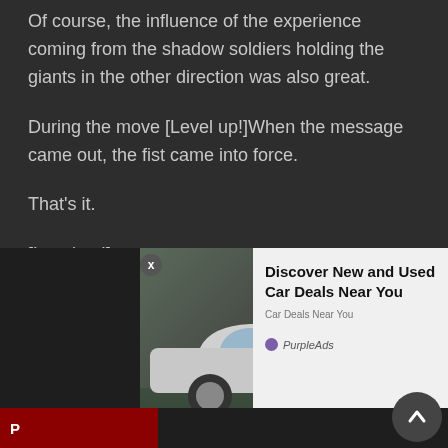Of course, the influence of the experience coming from the shadow soldiers holding the giants in the other direction was also great.
During the move [Level up!]When the message came out, the fist came into force.
That's it.
[Level up!]
'right!'
Jinwoo grabbed two fists again in the level-up reminders that sounded timely.
I hear
[Figure (other): Advertisement overlay showing a silver SUV (Ford Explorer) in a rocky outdoor setting, with text 'Discover New and Used Car Deals Near You' and PurpleAds branding. Includes a close button (X), a previous navigation button, and a scroll-up button.]